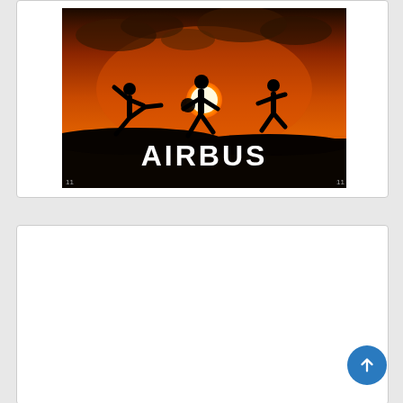[Figure (photo): Silhouettes of three people playing soccer/football against a dramatic orange sunset sky with clouds. The Airbus logo is displayed in white text in the lower right portion of the image. The bottom of the image is very dark/black.]
[Figure (photo): Defense & Security 2022 event banner/advertisement. Shows the Defense & Security 2022 logo in a silver badge/shield design at top, with text 'Power of Partnership' below in bold outlined letters on a light blue/white background with mountain imagery. Bottom shows colorful 3D spheres/balls.]